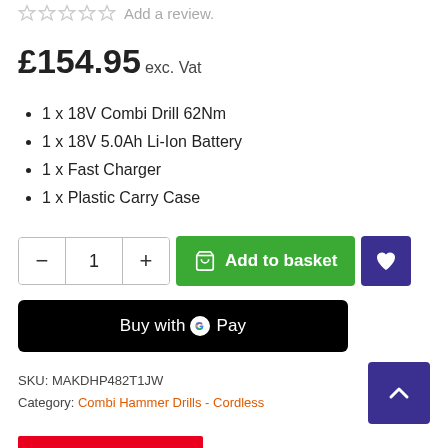Add a review.
£154.95 exc. Vat
1 x 18V Combi Drill 62Nm
1 x 18V 5.0Ah Li-Ion Battery
1 x Fast Charger
1 x Plastic Carry Case
SKU: MAKDHP482T1JW
Category: Combi Hammer Drills - Cordless